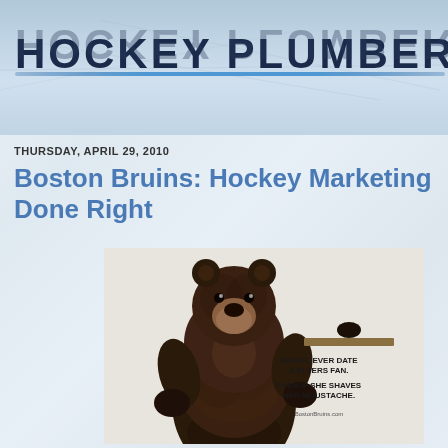Hockey Plumber
THURSDAY, APRIL 29, 2010
Boston Bruins: Hockey Marketing Done Right
[Figure (photo): Boston Bruins advertisement featuring a standing black bear with text: NEVER, EVER DATE A FLYERS FAN. EVEN IF SHE SHAVES HER MOUSTACHE. BostonBruins.com]